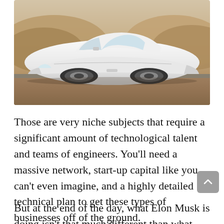[Figure (photo): White Tesla Model 3 parked on a desert road with dry hills in the background. The car is photographed from a front 3/4 angle. Sandy, gravelly terrain surrounds the vehicle.]
Those are very niche subjects that require a significant amount of technological talent and teams of engineers. You'll need a massive network, start-up capital like you can't even imagine, and a highly detailed technical plan to get these types of businesses off of the ground.
But at the end of the day, what Elon Musk is doing isn't that much different than what you are doing. He